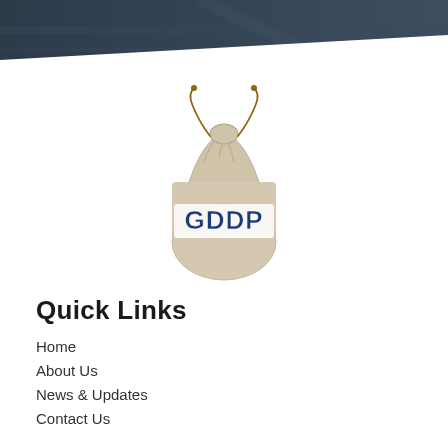[Figure (illustration): Dark blue-grey banner at top of page with diagonal white cutaway at the bottom, suggesting a website header with a blurred office/desk background.]
[Figure (logo): A beige/tan drawstring burlap bag with rope drawstrings, with the text 'GDDP' overlaid in bold blue letters with white outline, centered on the bag.]
Quick Links
Home
About Us
News & Updates
Contact Us